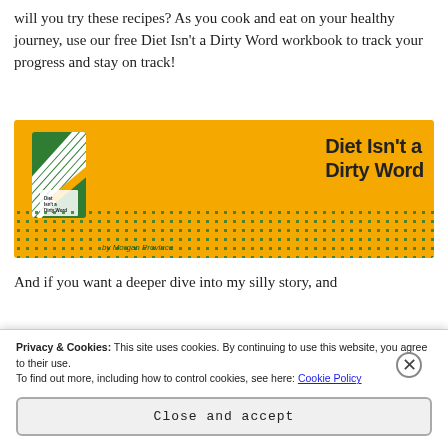will you try these recipes? As you cook and eat on your healthy journey, use our free Diet Isn't a Dirty Word workbook to track your progress and stay on track!
[Figure (illustration): Promotional banner with orange/yellow background featuring a book cover for 'Diet Isn't a Dirty Word' by Morgan Province. The book has a green and white diagonal stripe pattern. The banner text reads 'Diet Isn't a Dirty Word' in black bold font. Green polka dots decorate the bottom of the banner.]
And if you want a deeper dive into my silly story, and
Privacy & Cookies: This site uses cookies. By continuing to use this website, you agree to their use.
To find out more, including how to control cookies, see here: Cookie Policy
Close and accept